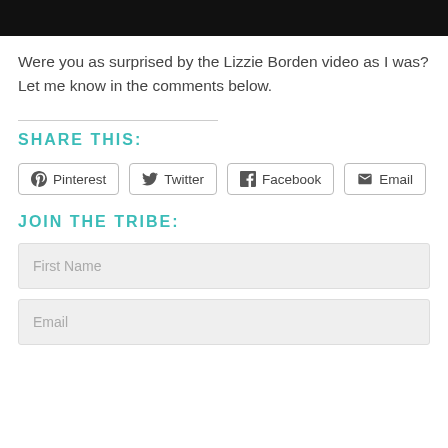[Figure (other): Black bar image at the top of the page]
Were you as surprised by the Lizzie Borden video as I was? Let me know in the comments below.
SHARE THIS:
Pinterest  Twitter  Facebook  Email
JOIN THE TRIBE:
First Name
Email